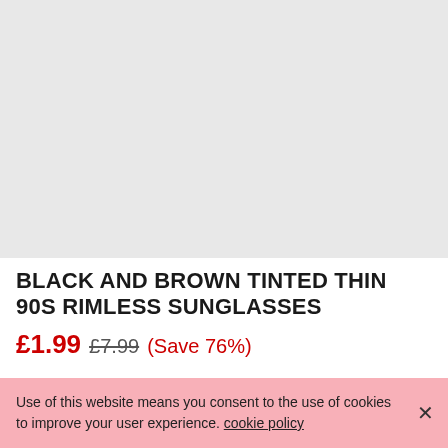[Figure (photo): Light grey placeholder area for product image of sunglasses]
BLACK AND BROWN TINTED THIN 90S RIMLESS SUNGLASSES
£1.99 £7.99 (Save 76%)
Use of this website means you consent to the use of cookies to improve your user experience. cookie policy